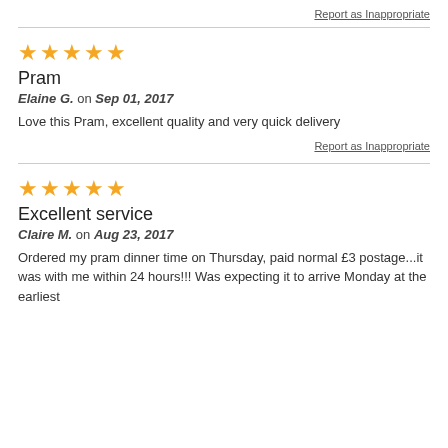Report as Inappropriate
★★★★★
Pram
Elaine G. on Sep 01, 2017
Love this Pram, excellent quality and very quick delivery
Report as Inappropriate
★★★★★
Excellent service
Claire M. on Aug 23, 2017
Ordered my pram dinner time on Thursday, paid normal £3 postage...it was with me within 24 hours!!! Was expecting it to arrive Monday at the earliest